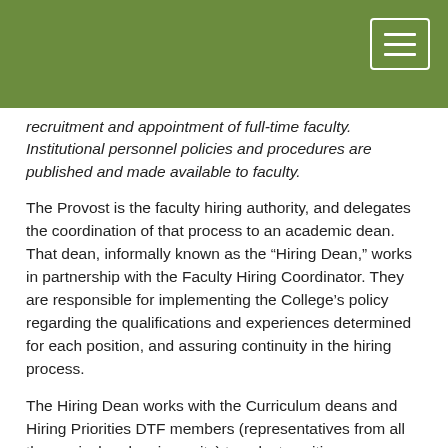recruitment and appointment of full-time faculty. Institutional personnel policies and procedures are published and made available to faculty.
The Provost is the faculty hiring authority, and delegates the coordination of that process to an academic dean. That dean, informally known as the “Hiring Dean,” works in partnership with the Faculty Hiring Coordinator. They are responsible for implementing the College’s policy regarding the qualifications and experiences determined for each position, and assuring continuity in the hiring process.
The Hiring Dean works with the Curriculum deans and Hiring Priorities DTF members (representatives from all the curricular planning units) to select positions necessary for a comprehensive curriculum. The process for determining required qualifications is consultative involving Provost, deans, and faculty members in the field. They determine the requirements for each position based on their best judgment of an expected applicant pool, and